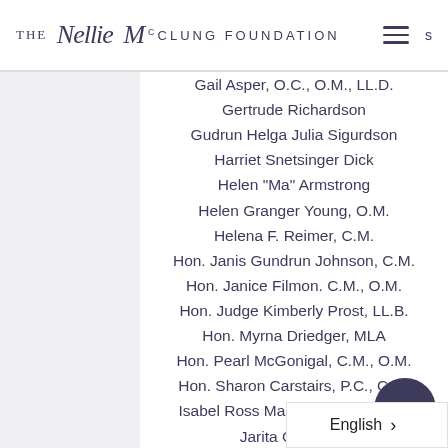THE NELLIE McCLUNG FOUNDATION
Gail Asper, O.C., O.M., LL.D.
Gertrude Richardson
Gudrun Helga Julia Sigurdson
Harriet Snetsinger Dick
Helen "Ma" Armstrong
Helen Granger Young, O.M.
Helena F. Reimer, C.M.
Hon. Janis Gundrun Johnson, C.M.
Hon. Janice Filmon. C.M., O.M.
Hon. Judge Kimberly Prost, LL.B.
Hon. Myrna Driedger, MLA
Hon. Pearl McGonigal, C.M., O.M.
Hon. Sharon Carstairs, P.C., C.M.
Isabel Ross MacLean Hunt, LL.B.
Jarita Greyeyes
Jean Agnes Hird
Jean Folster